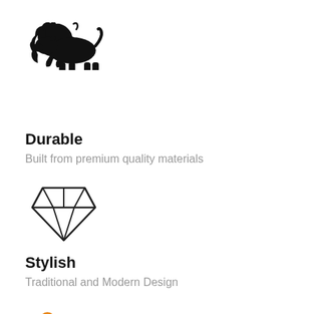[Figure (illustration): Black silhouette icon of a bull/ox animal]
Durable
Built from premium quality materials
[Figure (illustration): Diamond gem outline icon with geometric facets, stroke style]
Stylish
Traditional and Modern Design
[Figure (illustration): Orange crossed tools icon: pencil/wrench and wrench crossed]
Custom Options